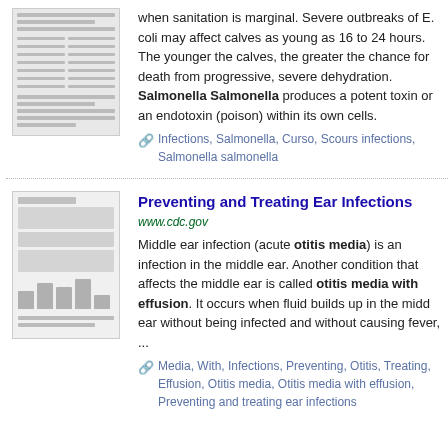[Figure (screenshot): Thumbnail preview of a document page about E. coli and Salmonella infections]
when sanitation is marginal. Severe outbreaks of E. coli may affect calves as young as 16 to 24 hours. The younger the calves, the greater the chance for death from progressive, severe dehydration. Salmonella Salmonella produces a potent toxin or an endotoxin (poison) within its own cells.
Infections, Salmonella, Curso, Scours infections, Salmonella salmonella
[Figure (screenshot): Thumbnail preview of a CDC page about preventing and treating ear infections]
Preventing and Treating Ear Infections
www.cdc.gov
Middle ear infection (acute otitis media) is an infection in the middle ear. Another condition that affects the middle ear is called otitis media with effusion. It occurs when fluid builds up in the middle ear without being infected and without causing fever, ...
Media, With, Infections, Preventing, Otitis, Treating, Effusion, Otitis media, Otitis media with effusion, Preventing and treating ear infections